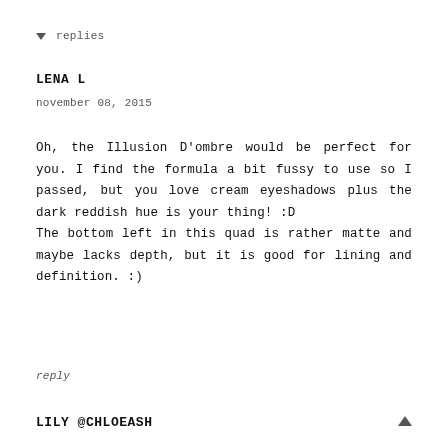▾ replies
LENA L
november 08, 2015
Oh, the Illusion D'ombre would be perfect for you. I find the formula a bit fussy to use so I passed, but you love cream eyeshadows plus the dark reddish hue is your thing! :D
The bottom left in this quad is rather matte and maybe lacks depth, but it is good for lining and definition. :)
reply
LILY @CHLOEASH